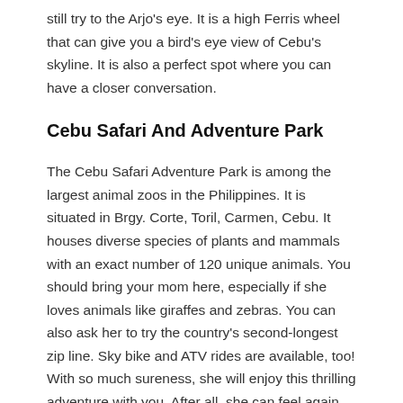still try to the Arjo's eye. It is a high Ferris wheel that can give you a bird's eye view of Cebu's skyline. It is also a perfect spot where you can have a closer conversation.
Cebu Safari And Adventure Park
The Cebu Safari Adventure Park is among the largest animal zoos in the Philippines. It is situated in Brgy. Corte, Toril, Carmen, Cebu. It houses diverse species of plants and mammals with an exact number of 120 unique animals. You should bring your mom here, especially if she loves animals like giraffes and zebras. You can also ask her to try the country's second-longest zip line. Sky bike and ATV rides are available, too! With so much sureness, she will enjoy this thrilling adventure with you. After all, she can feel again the thrill of getting into the wilderness with only 800 pesos entrance fee.
Historical Marchesa's Gifts